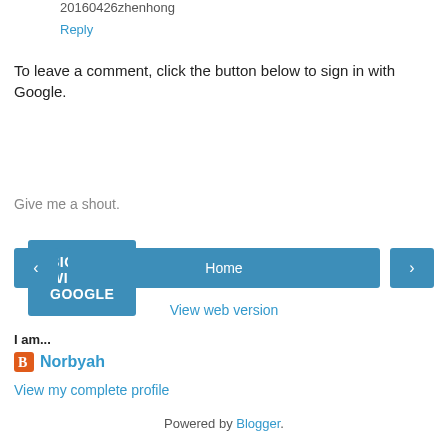20160426zhenhong
Reply
To leave a comment, click the button below to sign in with Google.
SIGN IN WITH GOOGLE
Give me a shout.
‹   Home   ›
View web version
I am...
Norbyah
View my complete profile
Powered by Blogger.